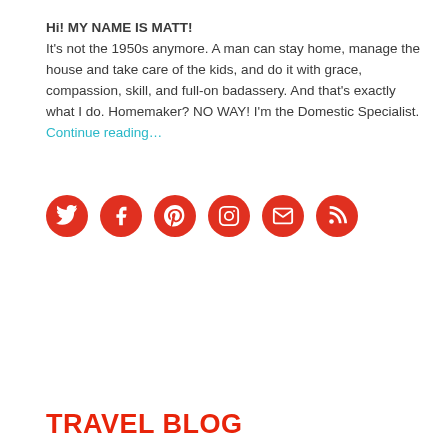Hi! MY NAME IS MATT!
It's not the 1950s anymore. A man can stay home, manage the house and take care of the kids, and do it with grace, compassion, skill, and full-on badassery. And that's exactly what I do. Homemaker? NO WAY! I'm the Domestic Specialist. Continue reading…
[Figure (other): Six red circular social media icon buttons: Twitter, Facebook, Pinterest, Instagram, Email, RSS]
TRAVEL BLOG